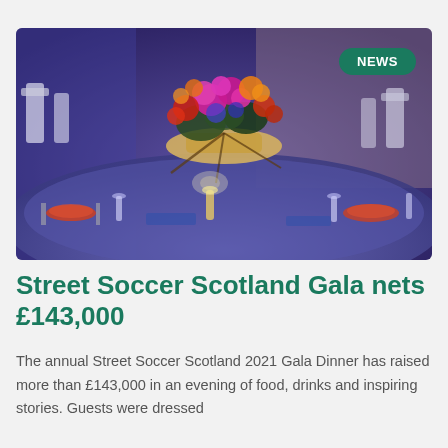[Figure (photo): A colorful gala dinner table setting with elaborate floral centerpiece featuring pink, red, orange and yellow flowers, surrounded by place settings with plates, glasses and cutlery in a blue-lit event hall with white chairs.]
Street Soccer Scotland Gala nets £143,000
The annual Street Soccer Scotland 2021 Gala Dinner has raised more than £143,000 in an evening of food, drinks and inspiring stories. Guests were dressed